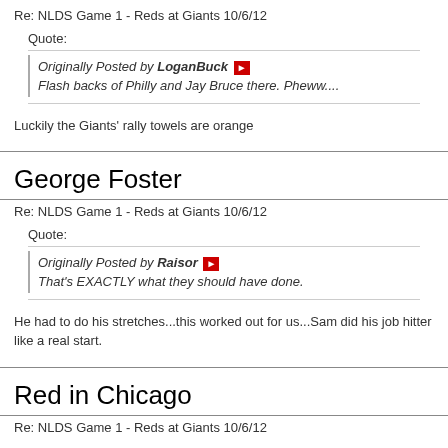Re: NLDS Game 1 - Reds at Giants 10/6/12
Quote:
Originally Posted by LoganBuck
Flash backs of Philly and Jay Bruce there. Pheww....
Luckily the Giants' rally towels are orange
George Foster
Re: NLDS Game 1 - Reds at Giants 10/6/12
Quote:
Originally Posted by Raisor
That's EXACTLY what they should have done.
He had to do his stretches...this worked out for us...Sam did his job hitter like a real start.
Red in Chicago
Re: NLDS Game 1 - Reds at Giants 10/6/12